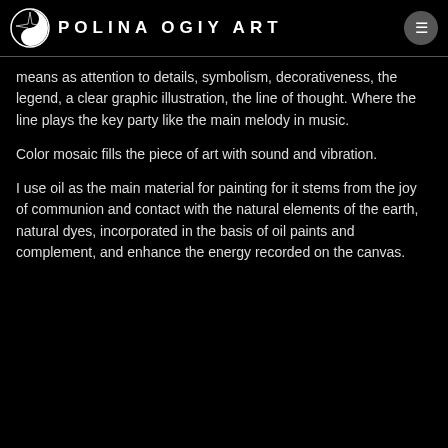POLINA OGIY ART
means as attention to details, symbolism, decorativeness, the legend, a clear graphic illustration, the line of thought. Where the line plays the key party like the main melody in music.
Color mosaic fills the piece of art with sound and vibration.
I use oil as the main material for painting for it stems from the joy of communion and contact with the natural elements of the earth, natural dyes, incorporated in the basis of oil paints and complement, and enhance the energy recorded on the canvas.